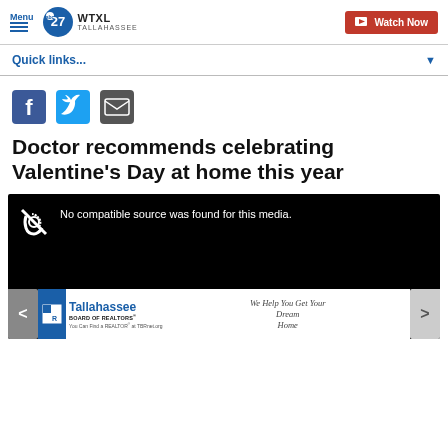Menu | WTXL TALLAHASSEE | Watch Now
Quick links...
[Figure (other): Social media share icons: Facebook, Twitter, Email]
Doctor recommends celebrating Valentine's Day at home this year
[Figure (other): Video player showing black screen with text: No compatible source was found for this media. Navigation arrows on left and right. Ad banner at bottom: Tallahassee Board of Realtors - We Help You Get Your Dream Home - You Can Find a REALTOR at TBRnet.org]